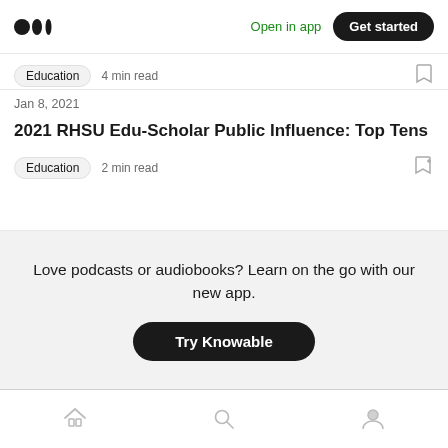Medium logo | Open in app | Get started
Education  4 min read
Jan 8, 2021
2021 RHSU Edu-Scholar Public Influence: Top Tens
Education  2 min read
Love podcasts or audiobooks? Learn on the go with our new app.
Try Knowable
Home | Search | Profile